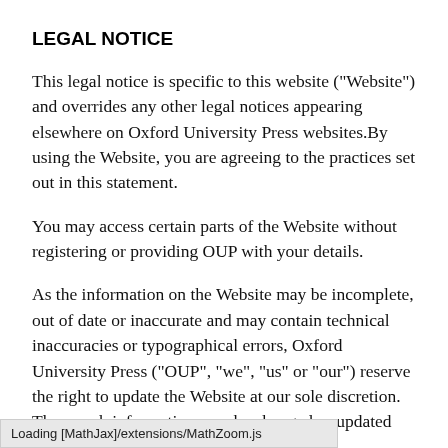LEGAL NOTICE
This legal notice is specific to this website ("Website") and overrides any other legal notices appearing elsewhere on Oxford University Press websites.By using the Website, you are agreeing to the practices set out in this statement.
You may access certain parts of the Website without registering or providing OUP with your details.
As the information on the Website may be incomplete, out of date or inaccurate and may contain technical inaccuracies or typographical errors, Oxford University Press ("OUP", "we", "us" or "our") reserve the right to update the Website at our sole discretion. Thus, such information may be changed or updated without notice.
Loading [MathJax]/extensions/MathZoom.js